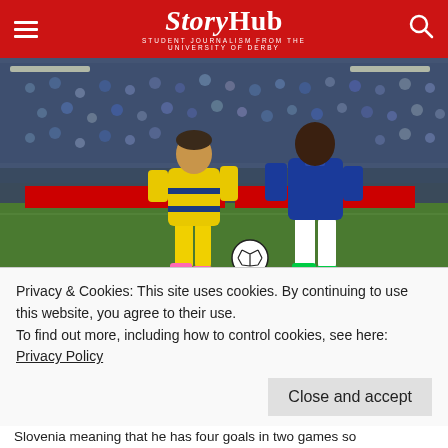StoryHub — Student Journalism from the University of Derby
[Figure (photo): Two football players on a pitch — one in yellow and blue kit (number 7), one in Chelsea blue kit — competing for the ball during a Champions League match in 2015]
Zahavi against Chelsea in 2015
The twenty-eight-year-old Eran Zahavi is on a hat trick mission against
Privacy & Cookies: This site uses cookies. By continuing to use this website, you agree to their use.
To find out more, including how to control cookies, see here: Privacy Policy
Slovenia meaning that he has four goals in two games so